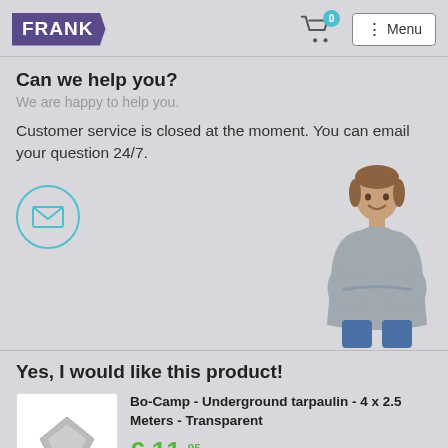FRANK | Cart (0) | Menu
Can we help you?
We are happy to help you.
Customer service is closed at the moment. You can email your question 24/7.
[Figure (illustration): Email envelope icon in a circle with teal border, and a photo of a man with arms crossed on the right]
Yes, I would like this product!
[Figure (photo): Product thumbnail showing a grey/transparent tarpaulin shape]
Bo-Camp - Underground tarpaulin - 4 x 2.5 Meters - Transparent
€ 11,95